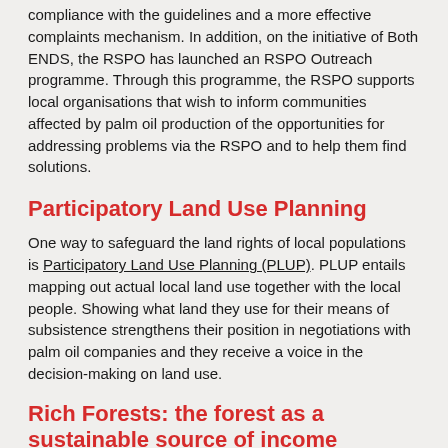compliance with the guidelines and a more effective complaints mechanism. In addition, on the initiative of Both ENDS, the RSPO has launched an RSPO Outreach programme. Through this programme, the RSPO supports local organisations that wish to inform communities affected by palm oil production of the opportunities for addressing problems via the RSPO and to help them find solutions.
Participatory Land Use Planning
One way to safeguard the land rights of local populations is Participatory Land Use Planning (PLUP). PLUP entails mapping out actual local land use together with the local people. Showing what land they use for their means of subsistence strengthens their position in negotiations with palm oil companies and they receive a voice in the decision-making on land use.
Rich Forests: the forest as a sustainable source of income
Forest-dwelling communities generally depend on the forest for their means of subsistence. Besides the fields they use to grow rice and other crops, they also gather other food such as fruit, nuts and honey and other necessary natural materials like cane